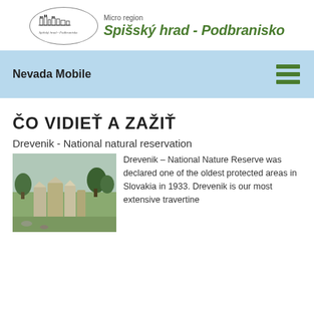[Figure (logo): Logo of Micro region Spišský hrad - Podbranisko: an oval with a sketch of castle/ruins and text 'Spišský hrad - Podbranisko', beside large text 'Micro region Spišský hrad - Podbranisko']
Nevada Mobile
ČO VIDIEŤ A ZAŽIŤ
Drevenik - National natural reservation
[Figure (photo): Photo of Drevenik rock formations - travertine rock pillars/cliffs with trees in background, landscape view]
Drevenik – National Nature Reserve was declared one of the oldest protected areas in Slovakia in 1933. Drevenik is our most extensive travertine